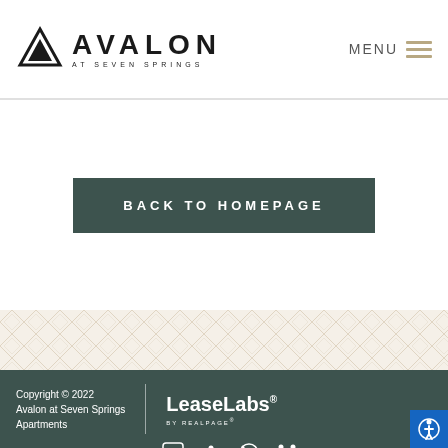AVALON AT SEVEN SPRINGS — MENU
BACK TO HOMEPAGE
[Figure (illustration): Geometric diamond/chevron pattern decorative border in beige/tan tones]
Copyright © 2022 Avalon at Seven Springs Apartments | LeaseLabs BY REALPAGE | Privacy